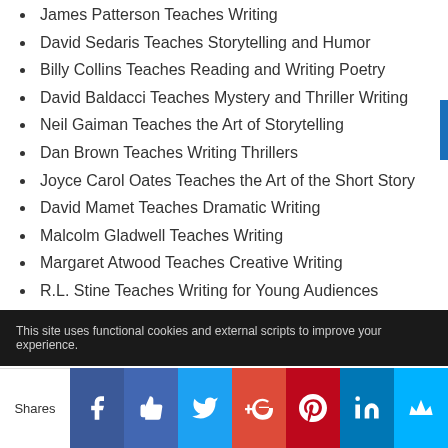James Patterson Teaches Writing
David Sedaris Teaches Storytelling and Humor
Billy Collins Teaches Reading and Writing Poetry
David Baldacci Teaches Mystery and Thriller Writing
Neil Gaiman Teaches the Art of Storytelling
Dan Brown Teaches Writing Thrillers
Joyce Carol Oates Teaches the Art of the Short Story
David Mamet Teaches Dramatic Writing
Malcolm Gladwell Teaches Writing
Margaret Atwood Teaches Creative Writing
R.L. Stine Teaches Writing for Young Audiences
This site uses functional cookies and external scripts to improve your experience.